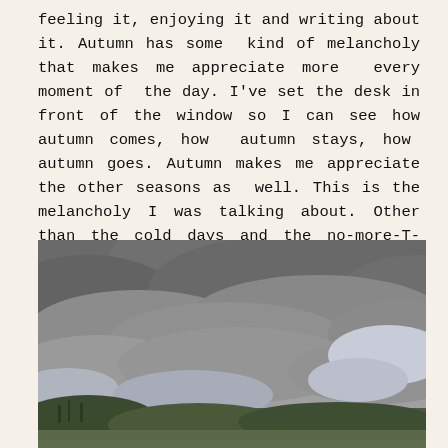feeling it, enjoying it and writing about it. Autumn has some kind of melancholy that makes me appreciate more every moment of the day. I've set the desk in front of the window so I can see how autumn comes, how autumn stays, how autumn goes. Autumn makes me appreciate the other seasons as well. This is the melancholy I was talking about. Other than the cold days and the no-more-T-shirt days, there is nothing sad about autumn. Even these days are good days.
[Figure (photo): A landscape photo showing a dramatic cloudy grey sky over a hilly terrain with some trees and buildings visible at the bottom edge.]